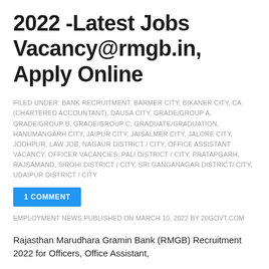2022 -Latest Jobs Vacancy@rmgb.in, Apply Online
FILED UNDER: BANK RECRUITMENT, BARMER CITY, BIKANER CITY, CA (CHARTERED ACCOUNTANT), DAUSA CITY, GRADE/GROUP A, GRADE/GROUP B, GRADE/GROUP C, GRADUATE/GRADUATION, HANUMANGARH CITY, JAIPUR CITY, JAISALMER CITY, JALORE CITY, JODHPUR, LAW JOB, NAGAUR DISTRICT / CITY, OFFICE ASSISTANT VACANCY, OFFICER VACANCIES, PALI DISTRICT / CITY, PRATAPGARH, RAJSAMAND, SIROHI DISTRICT / CITY, SRI GANGANAGAR DISTRICT/ CITY, UDAIPUR DISTRICT / CITY
1 COMMENT
EMPLOYMENT NEWS PUBLISHED ON MARCH 10, 2022 BY 20GOVT.COM
Rajasthan Marudhara Gramin Bank (RMGB) Recruitment 2022 for Officers, Office Assistant,